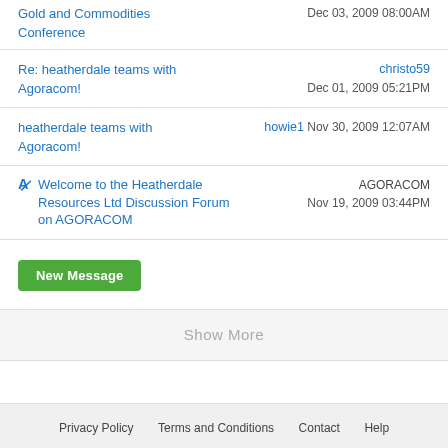Gold and Commodities Conference | Dec 03, 2009 08:00AM
Re: heatherdale teams with Agoracom! | christo59 | Dec 01, 2009 05:21PM
heatherdale teams with Agoracom! | howie1 | Nov 30, 2009 12:07AM
Welcome to the Heatherdale Resources Ltd Discussion Forum on AGORACOM | AGORACOM | Nov 19, 2009 03:44PM
New Message
Show More
Privacy Policy   Terms and Conditions   Contact   Help